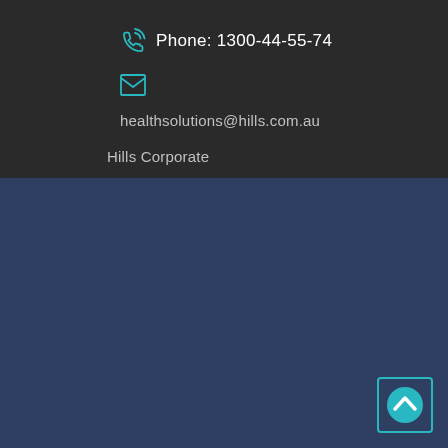Phone: 1300-44-55-74
healthsolutions@hills.com.au
Hills Corporate
Media
[Figure (illustration): Back to top button: teal circle with upward chevron inside a teal square border]